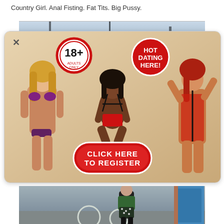Country Girl. Anal Fisting. Fat Tits. Big Pussy.
[Figure (photo): Background photo strip at top, partially visible street scene]
[Figure (infographic): Adult dating popup ad showing three women, 18+ adults only badge, HOT DATING HERE red circle badge, and a red CLICK HERE TO REGISTER button]
[Figure (photo): Background photo strip at bottom showing person in polka dot dress with bicycle on street]